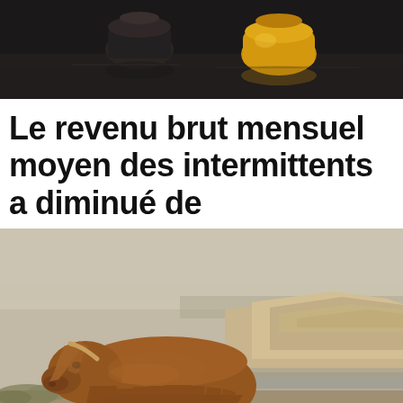[Figure (photo): Top portion of a photo showing dark objects (possibly bottles or jars) on a reflective surface, cropped at top of page]
Le revenu brut mensuel moyen des intermittents a diminué de
[Figure (photo): A Highland cow (shaggy reddish-brown long-haired cattle) standing on a sandy/rocky beach with rocky cliffs in the background and overcast sky, photo has vintage warm tone filter]